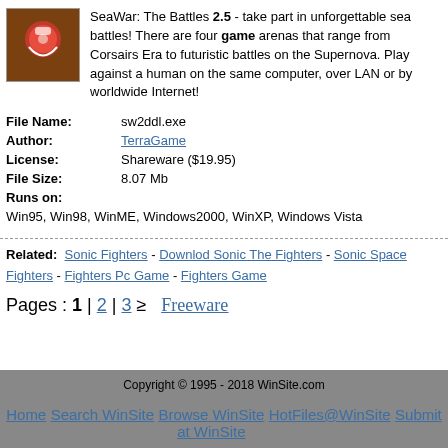SeaWar: The Battles 2.5 - take part in unforgettable sea battles! There are four game arenas that range from Corsairs Era to futuristic battles on the Supernova. Play against a human on the same computer, over LAN or by worldwide Internet!
| File Name: | sw2ddl.exe |
| Author: | TerraGame |
| License: | Shareware ($19.95) |
| File Size: | 8.07 Mb |
| Runs on: | Win95, Win98, WinME, Windows2000, WinXP, Windows Vista |
Related: Sonic Fighters - Downlod Sonic The Fighters - Sonic Space Fighters - Fighters Pc Game - Fighters Game
Pages : 1 | 2 | 3 ≥   Freeware
Copyright © 1995 - 2018 WinSite.com
Home   Search WinSite   Browse WinSite at WinSite   HotFiles@WinSite   Submit